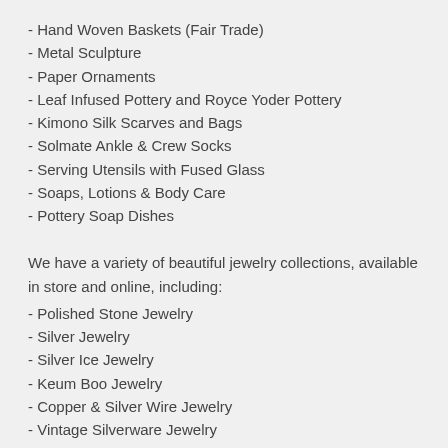- Hand Woven Baskets (Fair Trade)
- Metal Sculpture
- Paper Ornaments
- Leaf Infused Pottery and Royce Yoder Pottery
- Kimono Silk Scarves and Bags
- Solmate Ankle & Crew Socks
- Serving Utensils with Fused Glass
- Soaps, Lotions & Body Care
- Pottery Soap Dishes
We have a variety of beautiful jewelry collections, available in store and online, including:
- Polished Stone Jewelry
- Silver Jewelry
- Silver Ice Jewelry
- Keum Boo Jewelry
- Copper & Silver Wire Jewelry
- Vintage Silverware Jewelry
Just Around the Corner is owned by Diane Bower and has been a